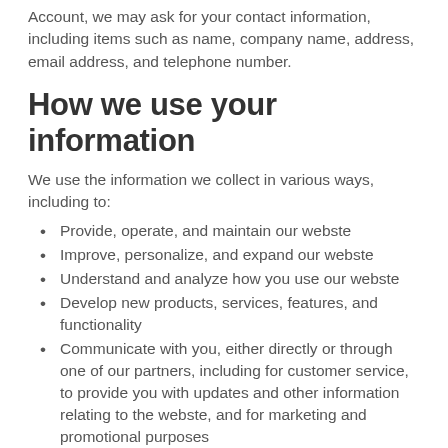Account, we may ask for your contact information, including items such as name, company name, address, email address, and telephone number.
How we use your information
We use the information we collect in various ways, including to:
Provide, operate, and maintain our webste
Improve, personalize, and expand our webste
Understand and analyze how you use our webste
Develop new products, services, features, and functionality
Communicate with you, either directly or through one of our partners, including for customer service, to provide you with updates and other information relating to the webste, and for marketing and promotional purposes
Send you emails
Find and prevent fraud